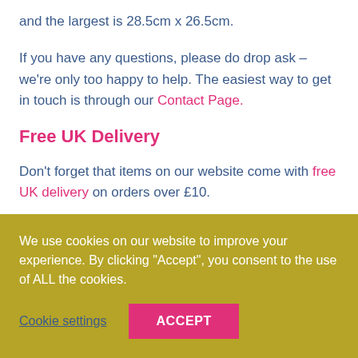and the largest is 28.5cm x 26.5cm.
If you have any questions, please do drop ask – we're only too happy to help. The easiest way to get in touch is through our Contact Page.
Free UK Delivery
Don't forget that items on our website come with free UK delivery on orders over £10.
We use cookies on our website to improve your experience. By clicking "Accept", you consent to the use of ALL the cookies.